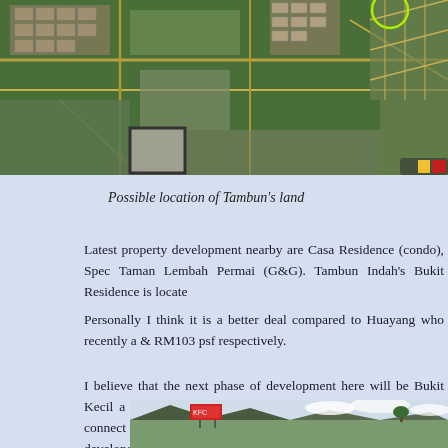[Figure (photo): Aerial satellite view of Tambun area showing residential developments and roads with a small thumbnail inset and highlighted areas]
Possible location of Tambun's land
Latest property development nearby are Casa Residence (condo), Spec Taman Lembah Permai (G&G). Tambun Indah's Bukit Residence is locate
Personally I think it is a better deal compared to Huayang who recently a & RM103 psf respectively.
I believe that the next phase of development here will be Bukit Kecil a Residence. Sooner or later a new road will be built to connect Keow Kua should see who owns the land and which developers can acquire them.
[Figure (photo): Street-level photo showing roadside with billboard signs, mountains in background and trees]